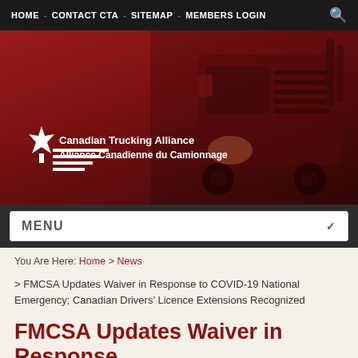HOME - CONTACT CTA - SITEMAP - MEMBERS LOGIN
[Figure (logo): Canadian Trucking Alliance logo with maple leaf and speed lines on red hero banner background with truck image]
MENU
You Are Here: Home > News
> FMCSA Updates Waiver in Response to COVID-19 National Emergency; Canadian Drivers' Licence Extensions Recognized
FMCSA Updates Waiver in Response